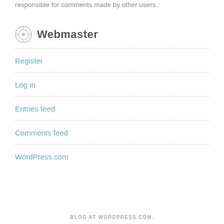responsible for comments made by other users.
Webmaster
Register
Log in
Entries feed
Comments feed
WordPress.com
BLOG AT WORDPRESS.COM.